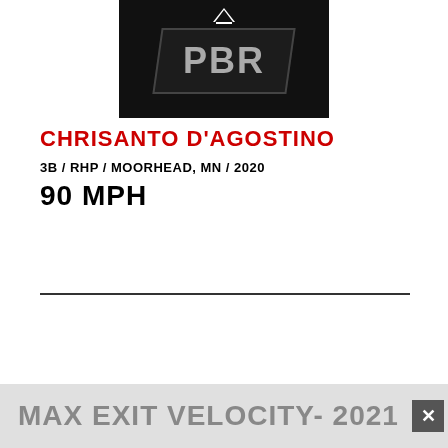[Figure (photo): Photo of a person wearing a black PBR (Perfect Baseball Reports) adidas shirt with a camouflage PBR logo on the chest]
CHRISANTO D'AGOSTINO
3B / RHP / MOORHEAD, MN / 2020
90 MPH
MAX EXIT VELOCITY- 2021